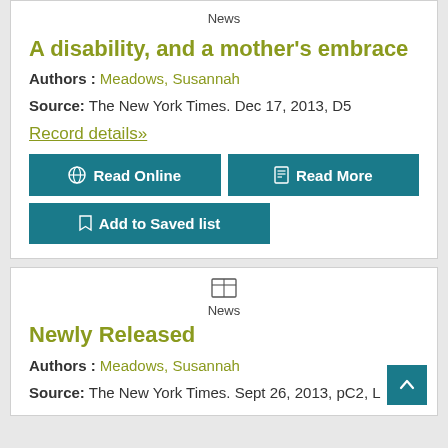News
A disability, and a mother's embrace
Authors : Meadows, Susannah
Source: The New York Times. Dec 17, 2013, D5
Record details»
Read Online
Read More
Add to Saved list
News
Newly Released
Authors : Meadows, Susannah
Source: The New York Times. Sept 26, 2013, pC2, L